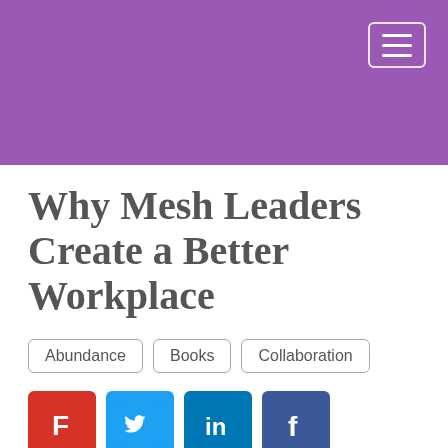[Figure (other): Purple header banner with hamburger menu button in top right corner]
Why Mesh Leaders Create a Better Workplace
Abundance
Books
Collaboration
[Figure (infographic): Social share icons: Feedly (red), Twitter (blue), LinkedIn (blue), Facebook (dark blue)]
Hi Characters,